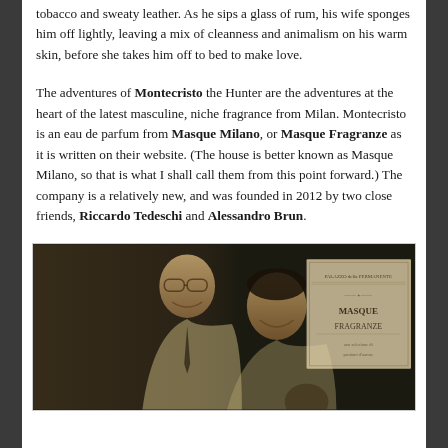tobacco and sweaty leather. As he sips a glass of rum, his wife sponges him off lightly, leaving a mix of cleanness and animalism on his warm skin, before she takes him off to bed to make love.
The adventures of Montecristo the Hunter are the adventures at the heart of the latest masculine, niche fragrance from Milan. Montecristo is an eau de parfum from Masque Milano, or Masque Fragranze as it is written on their website. (The house is better known as Masque Milano, so that is what I shall call them from this point forward.) The company is a relatively new, and was founded in 2012 by two close friends, Riccardo Tedeschi and Alessandro Brun.
[Figure (photo): Sepia-toned photograph of two men smiling, with a Masque Fragranze / Palazzo della Permanente sign visible in the background.]